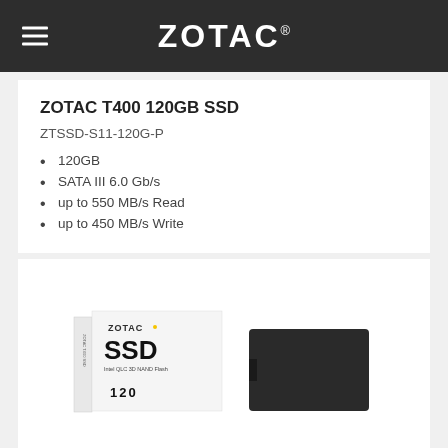ZOTAC
ZOTAC T400 120GB SSD
ZTSSD-S11-120G-P
120GB
SATA III 6.0 Gb/s
up to 550 MB/s Read
up to 450 MB/s Write
[Figure (photo): ZOTAC T400 SSD product image showing the SSD box packaging and a dark rectangular SSD drive]